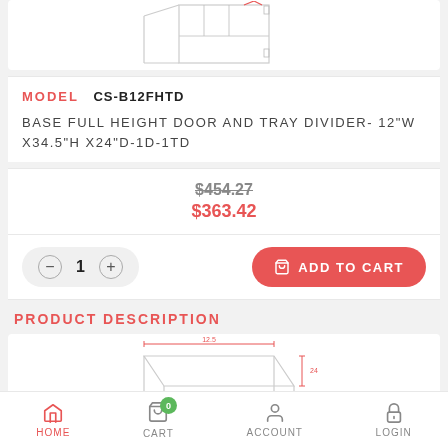[Figure (illustration): Technical line drawing of a cabinet with door open, showing interior shelf and tray divider]
MODEL   CS-B12FHTD
BASE FULL HEIGHT DOOR AND TRAY DIVIDER- 12"W X34.5"H X24"D-1D-1TD
$454.27 (strikethrough original price)
$363.42 (sale price)
1 (quantity)
ADD TO CART
PRODUCT DESCRIPTION
[Figure (engineering-diagram): Technical dimension drawing of the cabinet showing top-down view with measurement annotations]
HOME   CART   ACCOUNT   LOGIN